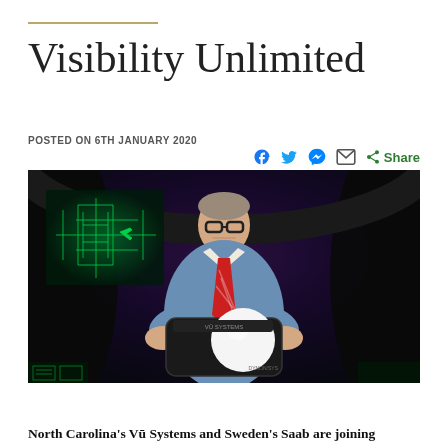Visibility Unlimited
POSTED ON 6TH JANUARY 2020
[Figure (photo): Man in blue shirt and red striped tie holding a black device with white spherical element, standing in front of a flight simulator cockpit with green HUD display in the background]
North Carolina's Vū Systems and Sweden's Saab are joining